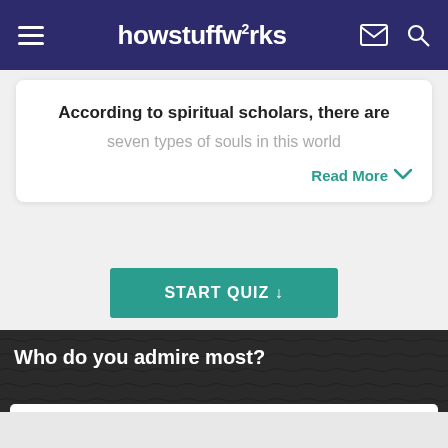howstuffworks
According to spiritual scholars, there are seven types of souls in this world
Read More
START QUIZ ↓
Who do you admire most?
A fireman